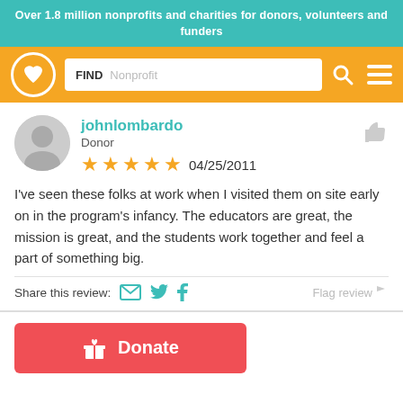Over 1.8 million nonprofits and charities for donors, volunteers and funders
[Figure (screenshot): Navigation bar with charity navigator logo (heart in circle), FIND Nonprofit search box, search icon and hamburger menu icon on orange background]
johnlombardo
Donor
★★★★★ 04/25/2011
I've seen these folks at work when I visited them on site early on in the program's infancy. The educators are great, the mission is great, and the students work together and feel a part of something big.
Share this review:   Flag review